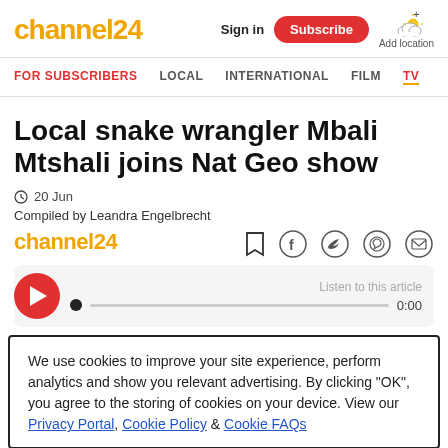channel24 | Sign in | Subscribe | Add location
FOR SUBSCRIBERS | LOCAL | INTERNATIONAL | FILM | TV
Local snake wrangler Mbali Mtshali joins Nat Geo show
20 Jun
Compiled by Leandra Engelbrecht
channel24
Listen to this article 0:00
We use cookies to improve your site experience, perform analytics and show you relevant advertising. By clicking "OK", you agree to the storing of cookies on your device. View our Privacy Portal, Cookie Policy & Cookie FAQs